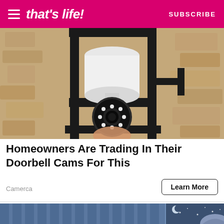that's life! | SUBSCRIBE
[Figure (photo): Close-up photo of a white security camera mounted in a black outdoor wall lantern bracket against a stone/stucco wall, with LED ring lights visible on the camera lens. A hand is reaching up to install it.]
Homeowners Are Trading In Their Doorbell Cams For This
Camerca
Learn More
[Figure (illustration): Illustrated image showing a person sleeping at night with a moon and stars visible through a window, blue-toned with curtains.]